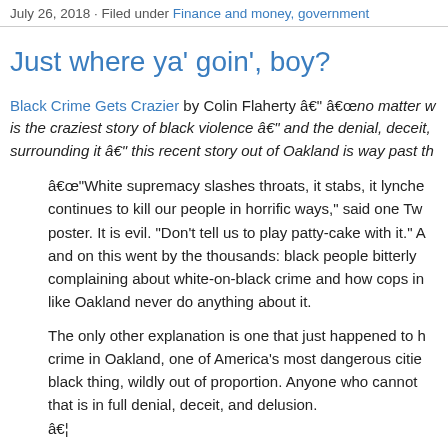July 26, 2018 · Filed under Finance and money, government
Just where ya’ goin’, boy?
Black Crime Gets Crazier by Colin Flaherty â€“ â€no matter w... is the craziest story of black violence â€“ and the denial, deceit, surrounding it â€“ this recent story out of Oakland is way past th
â€“White supremacy slashes throats, it stabs, it lynche... continues to kill our people in horrific ways,” said one Tw... poster. It is evil. “Don’t tell us to play patty-cake with it.” A... and on this went by the thousands: black people bitterly complaining about white-on-black crime and how cops in... like Oakland never do anything about it.
The only other explanation is one that just happened to h... crime in Oakland, one of America’s most dangerous citie... black thing, wildly out of proportion. Anyone who cannot... that is in full denial, deceit, and delusion.
â€¦